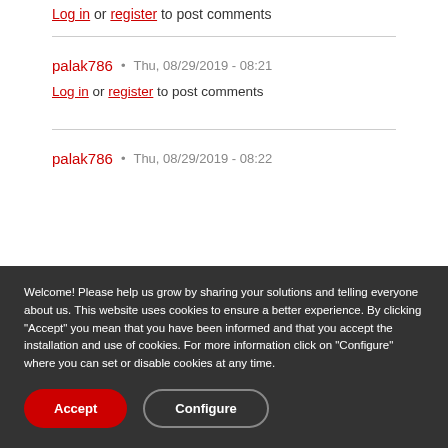Log in or register to post comments
palak786  •  Thu, 08/29/2019 - 08:21
Log in or register to post comments
palak786  •  Thu, 08/29/2019 - 08:22
Welcome! Please help us grow by sharing your solutions and telling everyone about us. This website uses cookies to ensure a better experience. By clicking "Accept" you mean that you have been informed and that you accept the installation and use of cookies. For more information click on "Configure" where you can set or disable cookies at any time.